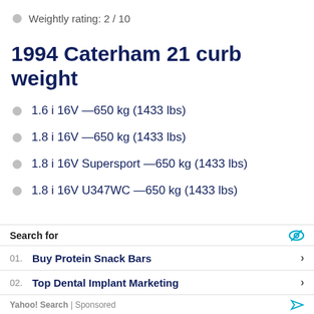Weightly rating: 2 / 10
1994 Caterham 21 curb weight
1.6 i 16V —650 kg (1433 lbs)
1.8 i 16V —650 kg (1433 lbs)
1.8 i 16V Supersport —650 kg (1433 lbs)
1.8 i 16V U347WC —650 kg (1433 lbs)
Search for
01. Buy Protein Snack Bars
02. Top Dental Implant Marketing
Yahoo! Search | Sponsored